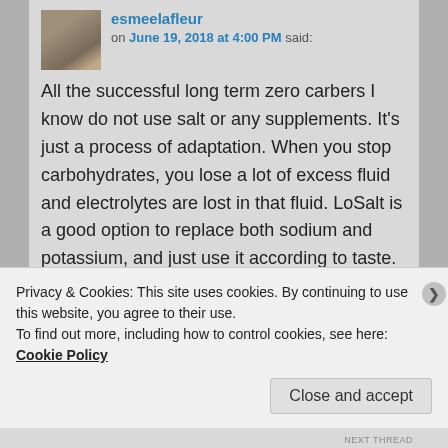esmeelafleur on June 19, 2018 at 4:00 PM said:
All the successful long term zero carbers I know do not use salt or any supplements. It's just a process of adaptation. When you stop carbohydrates, you lose a lot of excess fluid and electrolytes are lost in that fluid. LoSalt is a good option to replace both sodium and potassium, and just use it according to taste. After you adapt to no carbs, you can then discontinue or slowly taper off the LoSalt if you wish. Just keep in mind that your body has to again adapt
Privacy & Cookies: This site uses cookies. By continuing to use this website, you agree to their use.
To find out more, including how to control cookies, see here: Cookie Policy
Close and accept